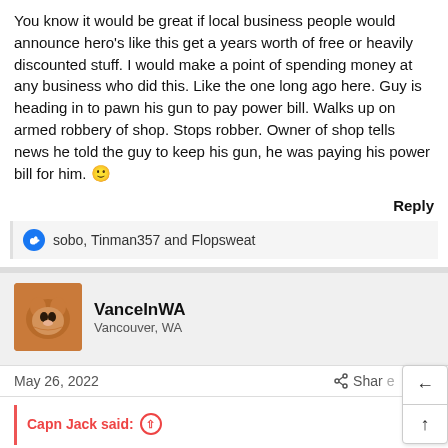You know it would be great if local business people would announce hero's like this get a years worth of free or heavily discounted stuff. I would make a point of spending money at any business who did this. Like the one long ago here. Guy is heading in to pawn his gun to pay power bill. Walks up on armed robbery of shop. Stops robber. Owner of shop tells news he told the guy to keep his gun, he was paying his power bill for him. 🙂
Reply
sobo, Tinman357 and Flopsweat
VanceInWA
Vancouver, WA
May 26, 2022   Share   #4
Capn Jack said: ⊕
At least she didn't run out and wait for, "Back-UP". 😸